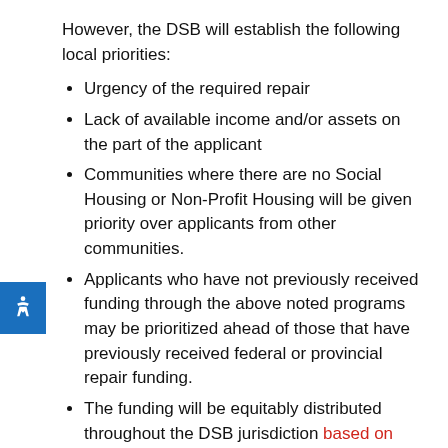However, the DSB will establish the following local priorities:
Urgency of the required repair
Lack of available income and/or assets on the part of the applicant
Communities where there are no Social Housing or Non-Profit Housing will be given priority over applicants from other communities.
Applicants who have not previously received funding through the above noted programs may be prioritized ahead of those that have previously received federal or provincial repair funding.
The funding will be equitably distributed throughout the DSB jurisdiction based on applications received.
Emergency Funding for Homelessness Prevention